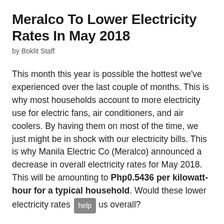Meralco To Lower Electricity Rates In May 2018
by Boklit Staff
This month this year is possible the hottest we've experienced over the last couple of months. This is why most households account to more electricity use for electric fans, air conditioners, and air coolers. By having them on most of the time, we just might be in shock with our electricity bills. This is why Manila Electric Co (Meralco) announced a decrease in overall electricity rates for May 2018. This will be amounting to Php0.5436 per kilowatt-hour for a typical household. Would these lower electricity rates help us overall?